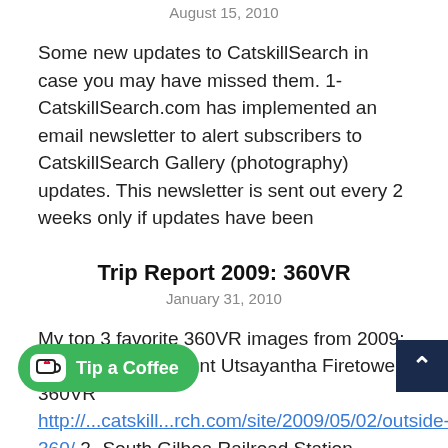August 15, 2010
Some new updates to CatskillSearch in case you may have missed them. 1- CatskillSearch.com has implemented an email newsletter to alert subscribers to CatskillSearch Gallery (photography) updates. This newsletter is sent out every 2 weeks only if updates have been
Trip Report 2009: 360VR
January 31, 2010
My top 3 favorite 360VR images from 2009: 1- Outside the Mount Utsayantha Firetower 360VR http://...catskill...rch.com/site/2009/05/02/outside-...retower-360/ 2- South Gilboa Railroad Station 360VR